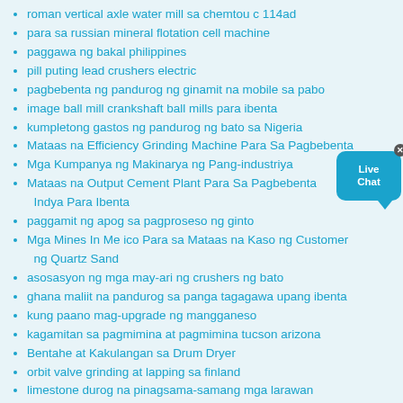roman vertical axle water mill sa chemtou c 114ad
para sa russian mineral flotation cell machine
paggawa ng bakal philippines
pill puting lead crushers electric
pagbebenta ng pandurog ng ginamit na mobile sa pabo
image ball mill crankshaft ball mills para ibenta
kumpletong gastos ng pandurog ng bato sa Nigeria
Mataas na Efficiency Grinding Machine Para Sa Pagbebenta
Mga Kumpanya ng Makinarya ng Pang-industriya
Mataas na Output Cement Plant Para Sa Pagbebenta Indya Para Ibenta
paggamit ng apog sa pagproseso ng ginto
Mga Mines In Me ico Para sa Mataas na Kaso ng Customer ng Quartz Sand
asosasyon ng mga may-ari ng crushers ng bato
ghana maliit na pandurog sa panga tagagawa upang ibenta
kung paano mag-upgrade ng mangganeso
kagamitan sa pagmimina at pagmimina tucson arizona
Bentahe at Kakulangan sa Drum Dryer
orbit valve grinding at lapping sa finland
limestone durog na pinagsama-samang mga larawan